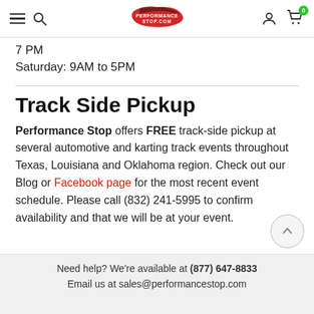Performance Stop navigation bar with hamburger menu, search, logo, user icon, and cart (0)
7 PM
Saturday: 9AM to 5PM
Track Side Pickup
Performance Stop offers FREE track-side pickup at several automotive and karting track events throughout Texas, Louisiana and Oklahoma region. Check out our Blog or Facebook page for the most recent event schedule. Please call (832) 241-5995 to confirm availability and that we will be at your event.
Need help? We're available at (877) 647-8833
Email us at sales@performancestop.com